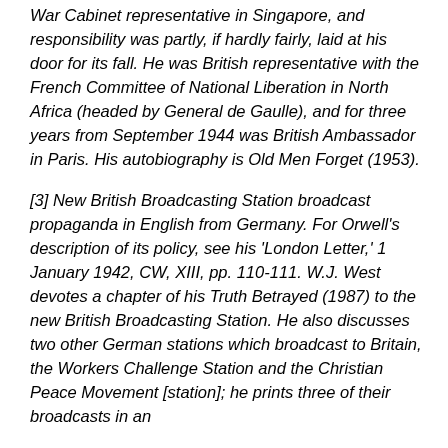War Cabinet representative in Singapore, and responsibility was partly, if hardly fairly, laid at his door for its fall. He was British representative with the French Committee of National Liberation in North Africa (headed by General de Gaulle), and for three years from September 1944 was British Ambassador in Paris. His autobiography is Old Men Forget (1953).
[3] New British Broadcasting Station broadcast propaganda in English from Germany. For Orwell's description of its policy, see his 'London Letter,' 1 January 1942, CW, XIII, pp. 110-111. W.J. West devotes a chapter of his Truth Betrayed (1987) to the new British Broadcasting Station. He also discusses two other German stations which broadcast to Britain, the Workers Challenge Station and the Christian Peace Movement [station]; he prints three of their broadcasts in an